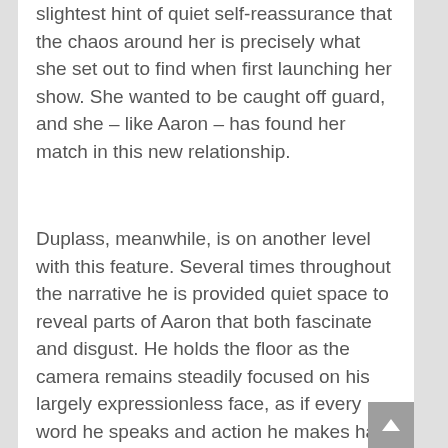slightest hint of quiet self-reassurance that the chaos around her is precisely what she set out to find when first launching her show. She wanted to be caught off guard, and she – like Aaron – has found her match in this new relationship.
Duplass, meanwhile, is on another level with this feature. Several times throughout the narrative he is provided quiet space to reveal parts of Aaron that both fascinate and disgust. He holds the floor as the camera remains steadily focused on his largely expressionless face, as if every word he speaks and action he makes has been timed just right for maximum effect. This character will be considered one of his great roles for the foreseeable future, if the